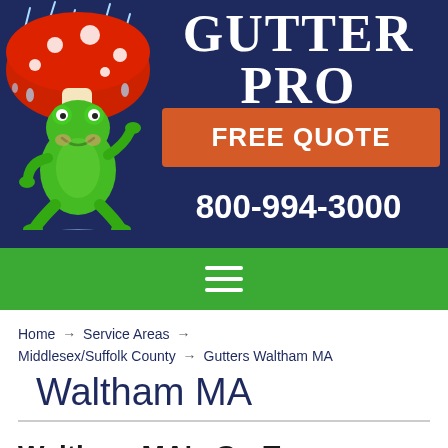[Figure (logo): Gutter Pro Enterprises Inc. header banner with cartoon frog mascot under a red mushroom umbrella in rain, company name GUTTER PRO ENTERPRISES INC in white on navy background, orange FREE QUOTE button, phone number 800-994-3000]
[Figure (other): Green navigation bar with white hamburger menu icon (three horizontal lines)]
Home → Service Areas → Middlesex/Suffolk County → Gutters Waltham MA
Waltham MA
Waltham MA's Go-To